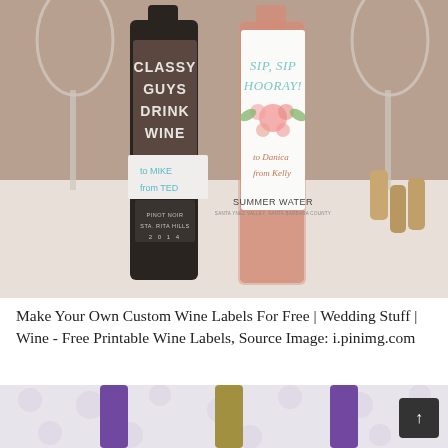[Figure (photo): Photo of two wine bottles with custom labels on a white surface with wine glasses and corks in background. Left bottle is dark with a brown label reading 'CLASSY GUYS DRINK WINE' with a gift tag 'to MIKE from TED' and Pinot Noir Sta. Rita Hills 2014. Right bottle is rose/pink with a white floral label reading 'SIP, SIP HOORAY!' with a gift tag 'to Danica from Kelly' and Summer Water.]
Make Your Own Custom Wine Labels For Free | Wedding Stuff | Wine - Free Printable Wine Labels, Source Image: i.pinimg.com
[Figure (photo): Partial photo showing tops of wine bottles with purple and gold foil capsules against a light polka-dot background.]